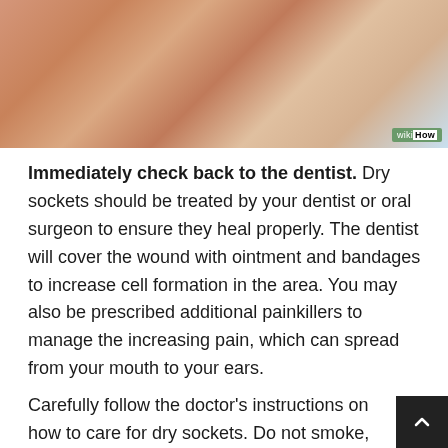[Figure (photo): Close-up photo of a person's hand touching or rubbing their jaw/neck area, with a wikiHow watermark in the bottom right corner.]
Immediately check back to the dentist. Dry sockets should be treated by your dentist or oral surgeon to ensure they heal properly. The dentist will cover the wound with ointment and bandages to increase cell formation in the area. You may also be prescribed additional painkillers to manage the increasing pain, which can spread from your mouth to your ears.
Carefully follow the doctor's instructions on how to care for dry sockets. Do not smoke, do not eat hard / tough food, or